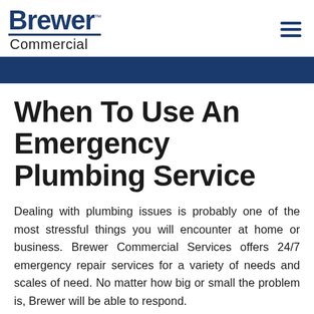Brewer™ Commercial
When To Use An Emergency Plumbing Service
Dealing with plumbing issues is probably one of the most stressful things you will encounter at home or business. Brewer Commercial Services offers 24/7 emergency repair services for a variety of needs and scales of need. No matter how big or small the problem is, Brewer will be able to respond.